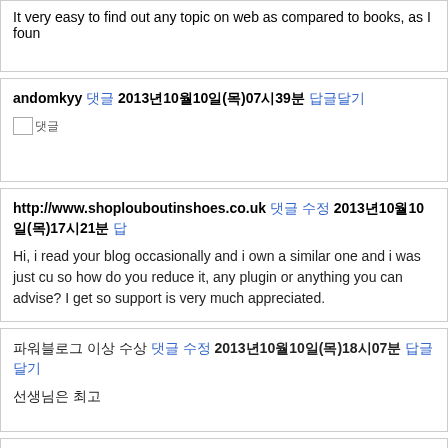It very easy to find out any topic on web as compared to books, as I foun
andomkyy 댓글 2013년10월10일(목)07시39분 답글달기
[Figure (other): Small broken image icon with Korean text]
http://www.shoplouboutinshoes.co.uk 댓글 수정 2013년10월10일(목)17시21분 답
Hi, i read your blog occasionally and i own a similar one and i was just cu so how do you reduce it, any plugin or anything you can advise? I get so support is very much appreciated.
파워블로그 이상 수상 댓글 수정 2013년10월10일(목)18시07분 답글달기
선생님은 최고
lida daidaihua capsule 댓글 수정 2013년10월10일(목)18시33분 답글달기
Can any one let know me that is there any on the internet course for SEO regarding Search engine optimization.